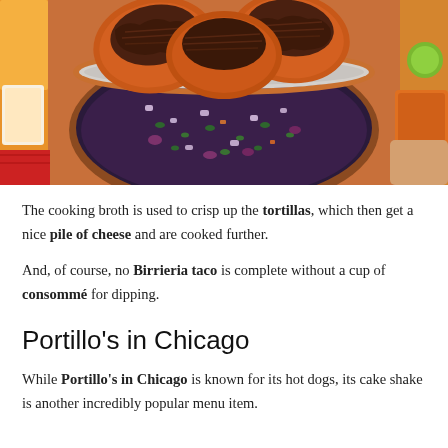[Figure (photo): Overhead view of a bowl of birria consommé broth with chopped onions, cilantro, and other garnishes, with crispy tortillas loaded with braised meat on top of the bowl rim.]
The cooking broth is used to crisp up the tortillas, which then get a nice pile of cheese and are cooked further.
And, of course, no Birrieria taco is complete without a cup of consommé for dipping.
Portillo's in Chicago
While Portillo's in Chicago is known for its hot dogs, its cake shake is another incredibly popular menu item.